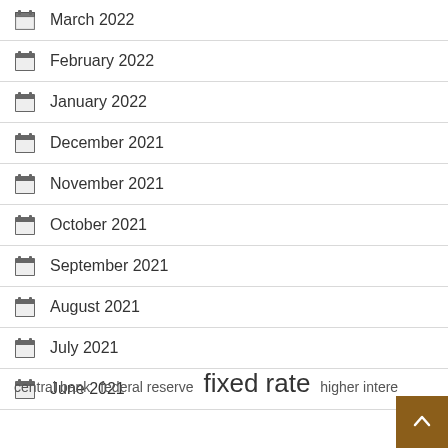March 2022
February 2022
January 2022
December 2021
November 2021
October 2021
September 2021
August 2021
July 2021
June 2021
central bank  federal reserve  fixed rate  higher intere...
[Figure (other): Scroll-to-top button with upward arrow, brown background]